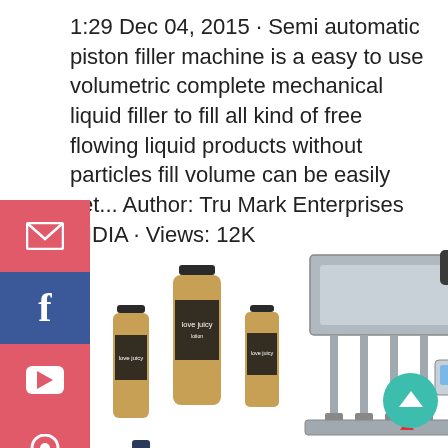1:29 Dec 04, 2015 · Semi automatic piston filler machine is a easy to use volumetric complete mechanical liquid filler to fill all kind of free flowing liquid products without particles fill volume can be easily set... Author: Tru Mark Enterprises INDIA · Views: 12K
[Figure (photo): Social media share sidebar with email (pink/red), Facebook (blue), YouTube (pink/red), and Pinterest (pink/red) buttons]
[Figure (photo): Group of liquid soap/shampoo bottles branded 'Love Juicy' in gold/amber color]
[Figure (photo): Semi automatic piston filler machine - industrial stainless steel liquid filling machine]
[Figure (photo): Single dark blue glass bottle with label (aloe vera product)]